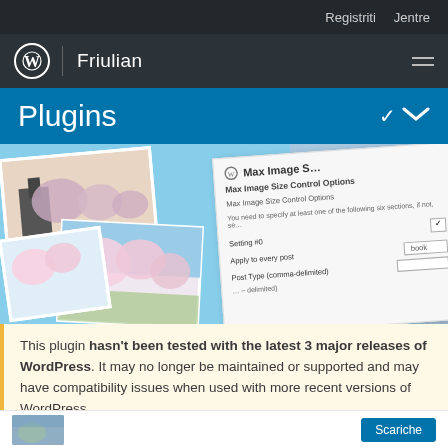Registriti   Jentre
Friulian
Plugins
[Figure (screenshot): Screenshot of Max Image Size Control plugin page showing a photo collage of cherry blossoms and a plugin settings panel with fields: Setting #0, You need to specify at least one of the following six sections, Apply to every post (with checkbox and 'book' input), Post Type (comma-delimited)]
This plugin hasn't been tested with the latest 3 major releases of WordPress. It may no longer be maintained or supported and may have compatibility issues when used with more recent versions of WordPress.